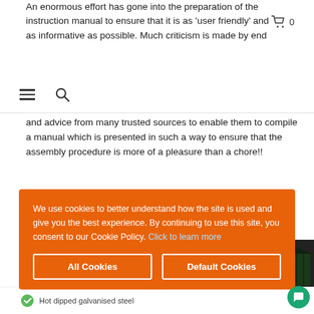An enormous effort has gone into the preparation of the instruction manual to ensure that it is as ‘user friendly’ and as informative as possible. Much criticism is made by end
Navigation bar with hamburger menu and search icon
and advice from many trusted sources to enable them to compile a manual which is presented in such a way to ensure that the assembly procedure is more of a pleasure than a chore!!
Nominal model sizes are based on the roof
[Figure (screenshot): Cookie consent banner with orange background. Text: We use cookies to better understand how the site is used and give you the best experience. By continuing to use this site, you consent to our Cookie Policy. Click to learn more. Two buttons: All Cookies and Default Cookies.]
Hot dipped galvanised steel